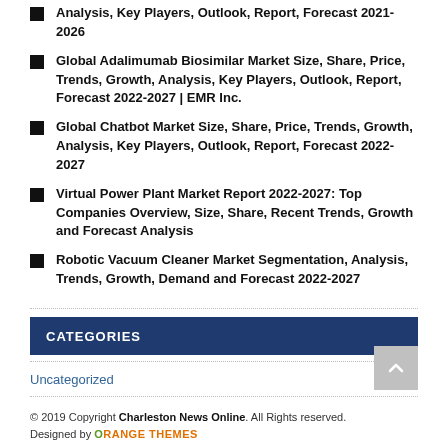Analysis, Key Players, Outlook, Report, Forecast 2021-2026
Global Adalimumab Biosimilar Market Size, Share, Price, Trends, Growth, Analysis, Key Players, Outlook, Report, Forecast 2022-2027 | EMR Inc.
Global Chatbot Market Size, Share, Price, Trends, Growth, Analysis, Key Players, Outlook, Report, Forecast 2022-2027
Virtual Power Plant Market Report 2022-2027: Top Companies Overview, Size, Share, Recent Trends, Growth and Forecast Analysis
Robotic Vacuum Cleaner Market Segmentation, Analysis, Trends, Growth, Demand and Forecast 2022-2027
CATEGORIES
Uncategorized
© 2019 Copyright Charleston News Online. All Rights reserved. Designed by ORANGE THEMES